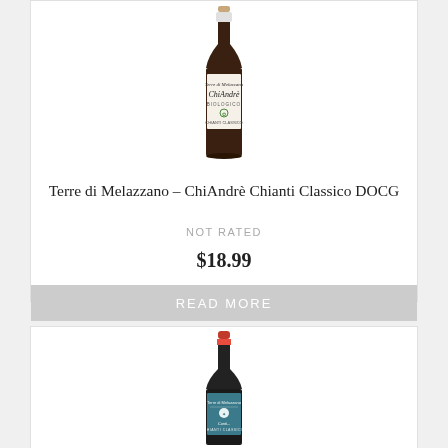[Figure (photo): Wine bottle for Terre di Melazzano ChiAndre Chianti Classico DOCG, organic label, dark bottle with white label]
Terre di Melazzano – ChiAndrè Chianti Classico DOCG
NOT RATED
$18.99
READ MORE
[Figure (photo): Wine bottle for a second Terre di Melazzano product, dark bottle with teal/blue label and red capsule]